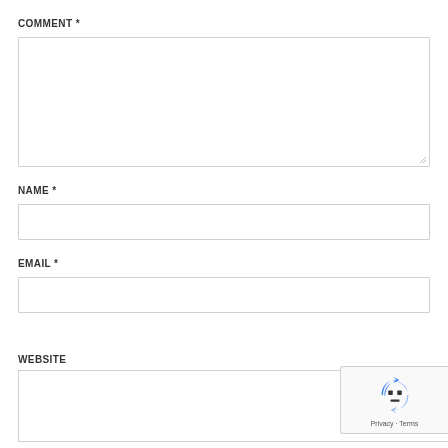COMMENT *
[Figure (other): Comment textarea input field (empty)]
NAME *
[Figure (other): Name text input field (empty)]
EMAIL *
[Figure (other): Email text input field (empty)]
WEBSITE
[Figure (other): Website text input field (empty, partially visible)]
[Figure (other): reCAPTCHA badge with robot icon and Privacy - Terms text]